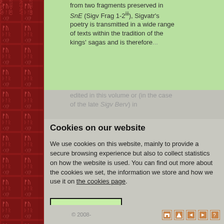[Figure (illustration): Red runic/decorative border strip on the left side of the page with repeating patterns]
from two fragments preserved in SnE (Sigv Frag 1-2iii), Sigvatr's poetry is transmitted in a wide range of texts within the tradition of the kings' sagas and is therefore...
edited in this volume or (in the case of the late Sigv Berv) in
general studies
Cookies on our website
We use cookies on this website, mainly to provide a secure browsing experience but also to collect statistics on how the website is used. You can find out more about the cookies we set, the information we store and how we use it on the cookies page.
Continue
© 2008-